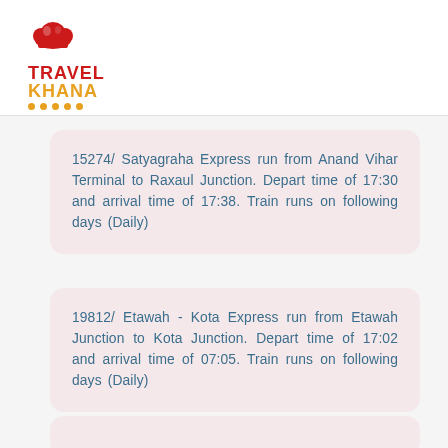[Figure (logo): TravelKhana logo with chef hat icon, red 'TRAVEL' text, orange 'KHANA' text, and orange dots below]
15274/ Satyagraha Express run from Anand Vihar Terminal to Raxaul Junction. Depart time of 17:30 and arrival time of 17:38. Train runs on following days (Daily)
19812/ Etawah - Kota Express run from Etawah Junction to Kota Junction. Depart time of 17:02 and arrival time of 07:05. Train runs on following days (Daily)